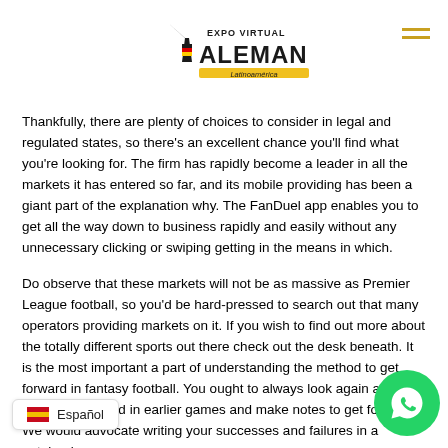Expo Virtual Alemania Latinoamérica
Thankfully, there are plenty of choices to consider in legal and regulated states, so there's an excellent chance you'll find what you're looking for. The firm has rapidly become a leader in all the markets it has entered so far, and its mobile providing has been a giant part of the explanation why. The FanDuel app enables you to get all the way down to business rapidly and easily without any unnecessary clicking or swiping getting in the means in which.
Do observe that these markets will not be as massive as Premier League football, so you'd be hard-pressed to search out that many operators providing markets on it. If you wish to find out more about the totally different sports out there check out the desk beneath. It is the most important a part of understanding the method to get forward in fantasy football. You ought to always look again at how you've performed in earlier games and make notes to get forward. We would advocate writing your successes and failures in a notebook or